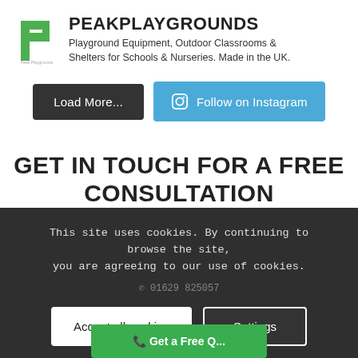[Figure (logo): Peak Playgrounds logo with green stylized 'P' lettermark]
PEAKPLAYGROUNDS
Playground Equipment, Outdoor Classrooms & Shelters for Schools & Nurseries. Made in the UK.
Load More...
Follow on Instagram
GET IN TOUCH FOR A FREE CONSULTATION
This site uses cookies. By continuing to browse the site, you are agreeing to our use of cookies.
Accept all cookies
Settings
info@peakplaygrounds.co.uk